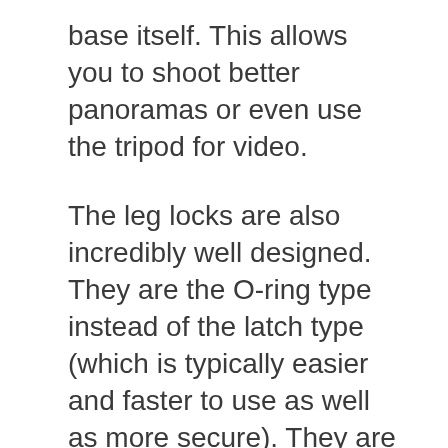base itself. This allows you to shoot better panoramas or even use the tripod for video.
The leg locks are also incredibly well designed. They are the O-ring type instead of the latch type (which is typically easier and faster to use as well as more secure). They are also metal for strength with rubber pads for better grip. This makes them easy to use in any condition, even if you are wearing gloves.
If you are just getting started and 3 Legged Thing tripods are a little out of your price range, then try this budget-friendly recommendation.